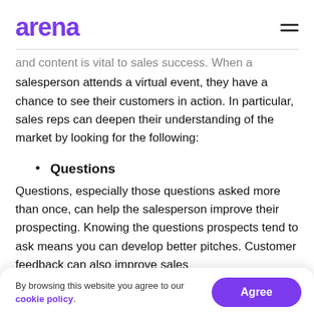arena
and content is vital to sales success. When a salesperson attends a virtual event, they have a chance to see their customers in action. In particular, sales reps can deepen their understanding of the market by looking for the following:
Questions
Questions, especially those questions asked more than once, can help the salesperson improve their prospecting. Knowing the questions prospects tend to ask means you can develop better pitches. Customer feedback can also improve sales
By browsing this website you agree to our cookie policy.